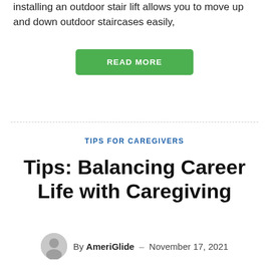installing an outdoor stair lift allows you to move up and down outdoor staircases easily,
READ MORE
TIPS FOR CAREGIVERS
Tips: Balancing Career Life with Caregiving
By AmeriGlide – November 17, 2021